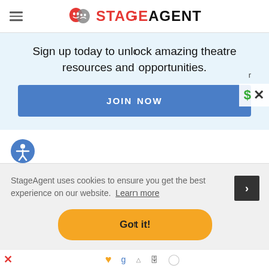StageAgent
Sign up today to unlock amazing theatre resources and opportunities.
JOIN NOW
[Figure (illustration): Accessibility icon - blue circle with white person/wheelchair symbol]
StageAgent uses cookies to ensure you get the best experience on our website. Learn more
Got it!